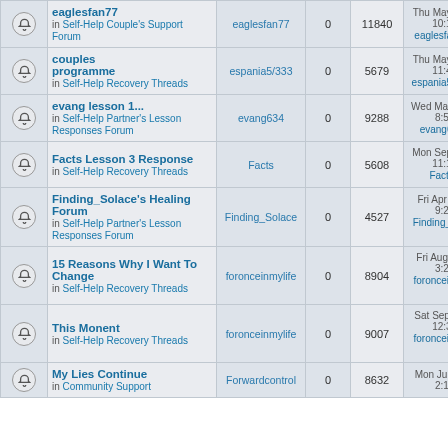|  | Topic | Author | Replies | Views | Last Post |
| --- | --- | --- | --- | --- | --- |
|  | eaglesfan77
in Self-Help Couple's Support Forum | eaglesfan77 | 0 | 11840 | Thu May 21, 2015 10:14 am eaglesfan77 |
|  | couples programme
in Self-Help Recovery Threads | espania5/333 | 0 | 5679 | Thu May 31, 2018 11:41 am espania5/333 |
|  | evang lesson 1...
in Self-Help Partner's Lesson Responses Forum | evang634 | 0 | 9288 | Wed May 20, 2015 8:59 am evang634 |
|  | Facts Lesson 3 Response
in Self-Help Recovery Threads | Facts | 0 | 5608 | Mon Sep 19, 2016 11:17 am Facts |
|  | Finding_Solace's Healing Forum
in Self-Help Partner's Lesson Responses Forum | Finding_Solace | 0 | 4527 | Fri Apr 28, 2017 9:20 am Finding_Solace |
|  | 15 Reasons Why I Want To Change
in Self-Help Recovery Threads | foronceinmylife | 0 | 8904 | Fri Aug 28, 2015 3:23 pm foronceinmylife |
|  | This Monent
in Self-Help Recovery Threads | foronceinmylife | 0 | 9007 | Sat Sep 12, 2015 12:30 pm foronceinmylife |
|  | My Lies Continue
in Community Support | Forwardcontrol | 0 | 8632 | Mon Jul 06, 2015 2:16 pm |